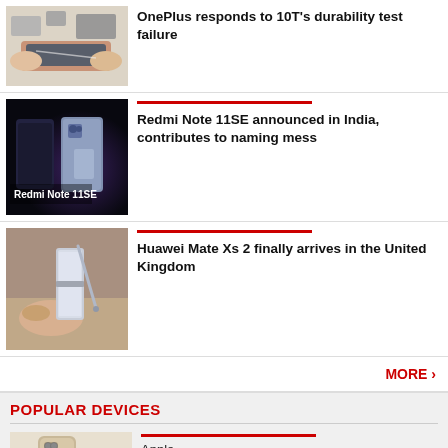[Figure (photo): Hands bending/stress-testing a smartphone, OnePlus 10T durability test]
OnePlus responds to 10T's durability test failure
[Figure (photo): Redmi Note 11SE product photo on dark background with phone text label]
Redmi Note 11SE announced in India, contributes to naming mess
[Figure (photo): Hands holding Huawei Mate Xs 2 foldable phone]
Huawei Mate Xs 2 finally arrives in the United Kingdom
MORE ›
POPULAR DEVICES
[Figure (photo): Apple iPhone 14 Pro Max product image]
Apple
iPhone 14 Pro Max